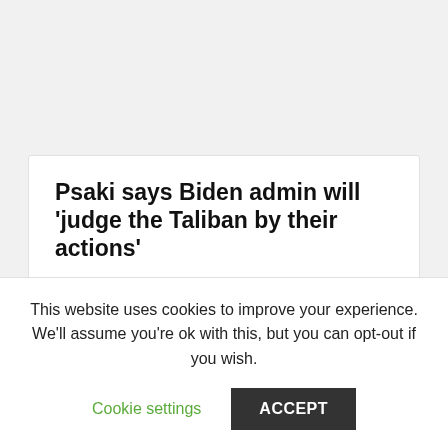Psaki says Biden admin will 'judge the Taliban by their actions'
September 2, 2021
Psaki: No one is saying that the Taliban are good
This website uses cookies to improve your experience. We'll assume you're ok with this, but you can opt-out if you wish.
Cookie settings
ACCEPT